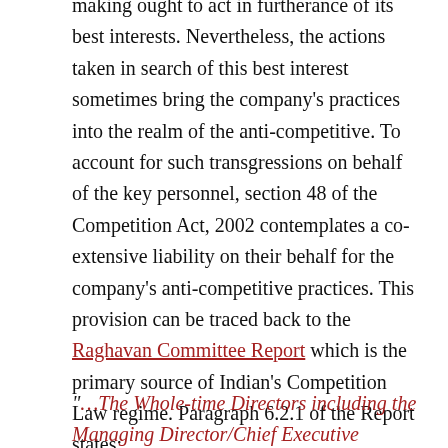making ought to act in furtherance of its best interests. Nevertheless, the actions taken in search of this best interest sometimes bring the company's practices into the realm of the anti-competitive. To account for such transgressions on behalf of the key personnel, section 48 of the Competition Act, 2002 contemplates a co-extensive liability on their behalf for the company's anti-competitive practices. This provision can be traced back to the Raghavan Committee Report which is the primary source of Indian's Competition Law regime. Paragraph 6.2.1 of the Report states:
“…The Whole-time Directors including the Managing Director/Chief Executive Officer will